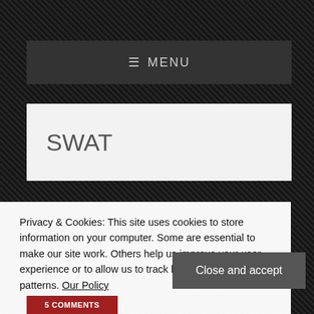≡ MENU
SWAT
Privacy & Cookies: This site uses cookies to store information on your computer. Some are essential to make our site work. Others help us improve your user experience or to allow us to track behavior and user patterns. Our Policy
Close and accept
5 COMMENTS